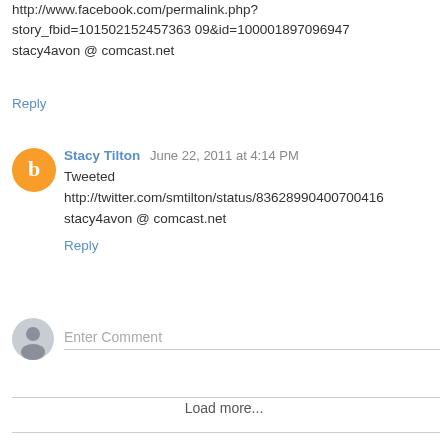http://www.facebook.com/permalink.php?story_fbid=101502152457363 09&id=100001897096947
stacy4avon @ comcast.net
Reply
Stacy Tilton  June 22, 2011 at 4:14 PM
Tweeted
http://twitter.com/smtilton/status/83628990400700416
stacy4avon @ comcast.net
Reply
Enter Comment
Load more...